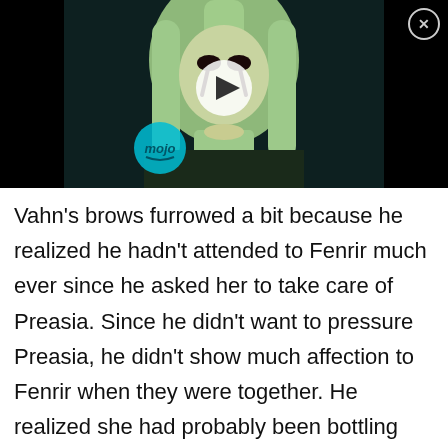[Figure (screenshot): Anime video thumbnail showing a female character with long light-colored hair and dark markings/tears on her face against a dark background. A play button triangle is visible in the center. The 'mojo' logo in cyan appears in the lower left of the thumbnail. A close button (X in circle) is in the upper right corner of the video player.]
Vahn's brows furrowed a bit because he realized he hadn't attended to Fenrir much ever since he asked her to take care of Preasia. Since he didn't want to pressure Preasia, he didn't show much affection to Fenrir when they were together. He realized she had probably been bottling things up without him noticing, but he actually felt a little proud that she had managed so well. Ironically, Vahn felt like Fenrir was getting better at managing her emotions than he